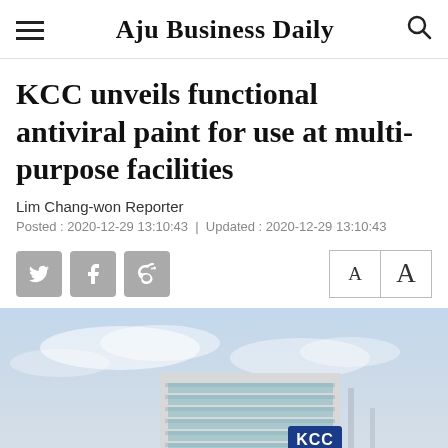Aju Business Daily
KCC unveils functional antiviral paint for use at multi-purpose facilities
Lim Chang-won Reporter
Posted : 2020-12-29 13:10:43  |  Updated : 2020-12-29 13:10:43
[Figure (photo): Social media sharing buttons (Twitter, Facebook, Weibo) and font size controls (A A)]
[Figure (photo): Photo of a KCC office building with KCC logo sign on the top, against a partly cloudy sky]